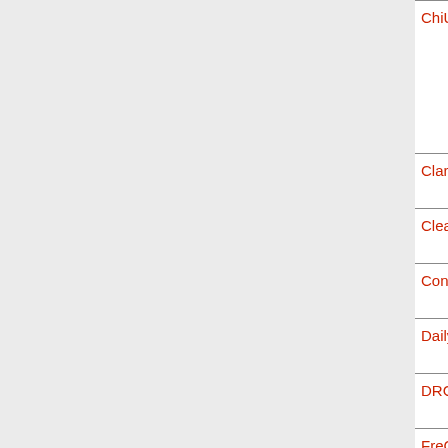| Name | Type | Notes |
| --- | --- | --- |
| ChiUn | Bible | histo
be H
Distr |
| Clarke | Comm |  |
| CleasbyVigfusson | Dict | Know |
| Concord | GenBook |  |
| Daily | Dict |  |
| DRCgb | GenBook | Dem |
| FreCrampon | Bible | Bugs |
| FreJND | Bible |  |
| FreMartin | Bible | Bugs
Who |
| FVDPVietAnh |  | Is th
have
Glos |
| GerAlbrecht | Bible | NT a
char |